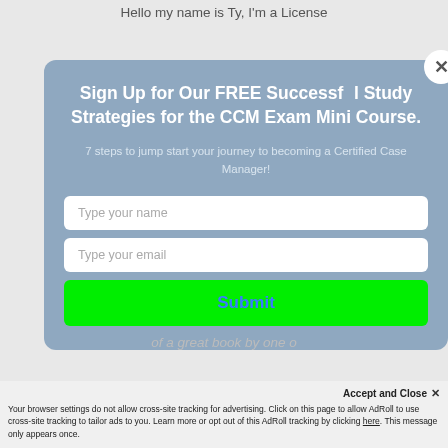Hello my name is Ty, I'm a License
Sign Up for Our FREE Successful Study Strategies for the CCM Exam Mini Course.
7 steps to jump start your journey to becoming a Certified Case Manager!
Type your name
Type your email
Submit
of a great book by one o
Accept and Close ✕
Your browser settings do not allow cross-site tracking for advertising. Click on this page to allow AdRoll to use cross-site tracking to tailor ads to you. Learn more or opt out of this AdRoll tracking by clicking here. This message only appears once.